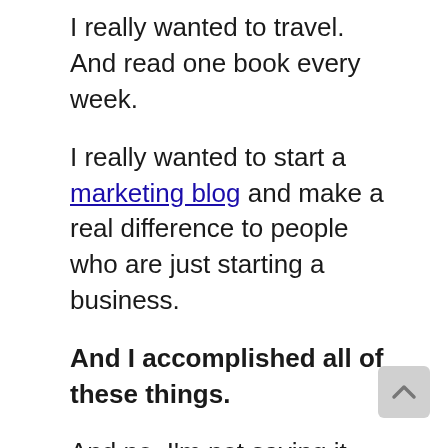I really wanted to travel. And read one book every week.
I really wanted to start a marketing blog and make a real difference to people who are just starting a business.
And I accomplished all of these things.
And no, I'm not saying it was always fun.
I had to work 12 hour days for several weeks and invest a few thousand pounds with no guarantee of return.
I had to train 4 times a week and eat